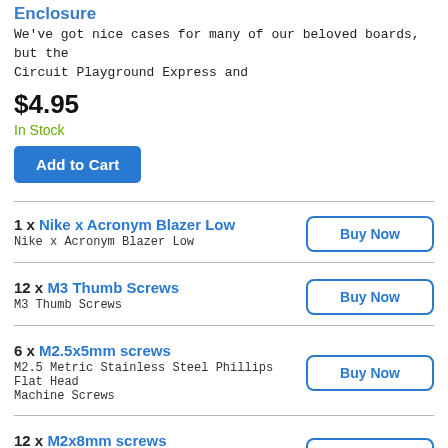Enclosure
We've got nice cases for many of our beloved boards, but the Circuit Playground Express and
$4.95
In Stock
Add to Cart
1 x Nike x Acronym Blazer Low
Nike x Acronym Blazer Low
12 x M3 Thumb Screws
M3 Thumb Screws
6 x M2.5x5mm screws
M2.5 Metric Stainless Steel Phillips Flat Head Machine Screws
12 x M2x8mm screws
M2 Metric Stainless Steel Phillips Flat Head